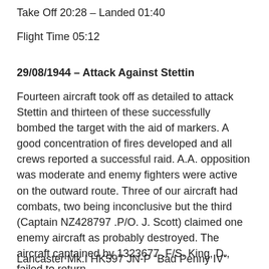Take Off 20:28 – Landed 01:40
Flight Time 05:12
29/08/1944 – Attack Against Stettin
Fourteen aircraft took off as detailed to attack Stettin and thirteen of these successfully bombed the target with the aid of markers. A good concentration of fires developed and all crews reported a successful raid. A.A. opposition was moderate and enemy fighters were active on the outward route. Three of our aircraft had combats, two being inconclusive but the third (Captain NZ428797 .P/O. J. Scott) claimed one enemy aircraft as probably destroyed. The aircraft captained by 1323677 .F/S. King, D., failed to return.
Lancaster Mk.I HK597 JN-P “Bad Penny IV”